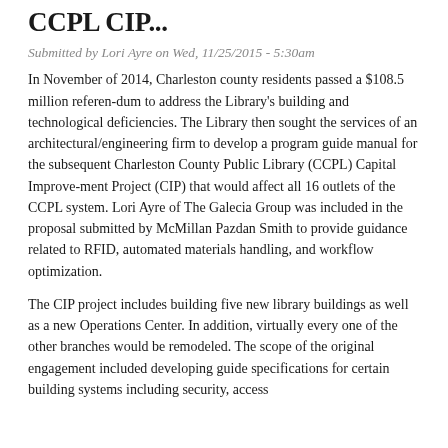CCPL CIP...
Submitted by Lori Ayre on Wed, 11/25/2015 - 5:30am
In November of 2014, Charleston county residents passed a $108.5 million referen-dum to address the Library's building and technological deficiencies. The Library then sought the services of an architectural/engineering firm to develop a program guide manual for the subsequent Charleston County Public Library (CCPL) Capital Improve-ment Project (CIP) that would affect all 16 outlets of the CCPL system. Lori Ayre of The Galecia Group was included in the proposal submitted by McMillan Pazdan Smith to provide guidance related to RFID, automated materials handling, and workflow optimization.
The CIP project includes building five new library buildings as well as a new Operations Center. In addition, virtually every one of the other branches would be remodeled. The scope of the original engagement included developing guide specifications for certain building systems including security, access